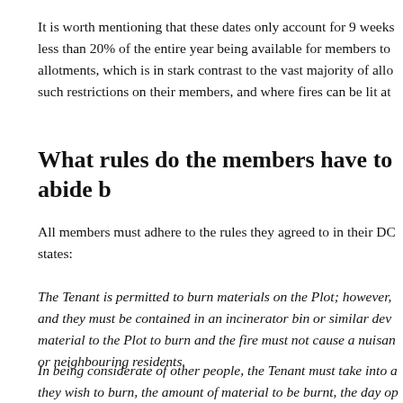It is worth mentioning that these dates only account for 9 weeks less than 20% of the entire year being available for members to allotments, which is in stark contrast to the vast majority of allotments that do not place such restrictions on their members, and where fires can be lit at
What rules do the members have to abide b
All members must adhere to the rules they agreed to in their DC states:
The Tenant is permitted to burn materials on the Plot; however, and they must be contained in an incinerator bin or similar dev material to the Plot to burn and the fire must not cause a nuisan or neighbouring residents.
In being considerate of other people, the Tenant must take into a they wish to burn, the amount of material to be burnt, the day op